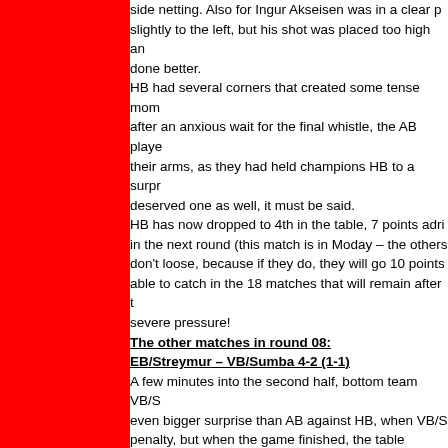side netting. Also for Ingur Akseisen was in a clear position, slightly to the left, but his shot was placed too high and done better.
HB had several corners that created some tense moments, after an anxious wait for the final whistle, the AB players raised their arms, as they had held champions HB to a surprise draw – a deserved one as well, it must be said.
HB has now dropped to 4th in the table, 7 points adrift in the next round (this match is in Moday – the others don't loose, because if they do, they will go 10 points able to catch in the 18 matches that will remain after that severe pressure!
The other matches in round 08:
EB/Streymur – VB/Sumba 4-2 (1-1)
A few minutes into the second half, bottom team VB/S even bigger surprise than AB against HB, when VB/S penalty, but when the game finished, the table toppers victory. EB/Streymur's 2-2 equalizer was on a direct f Samuelsen.
B71 Sandoy – B36 Tórshavn 1-2 (0-0)
B71 stood empty-handed, when the 90 minutes had g Especially in the second half they were much the bett lead after about 20 minutes. But with less than 10 min